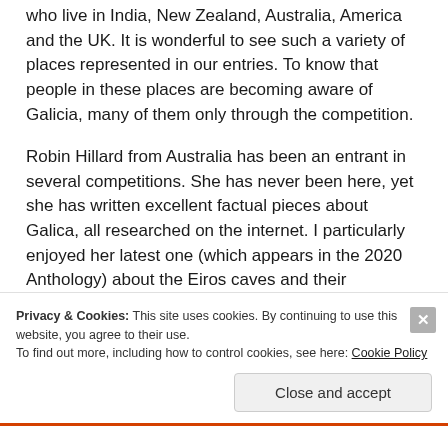who live in India, New Zealand, Australia, America and the UK. It is wonderful to see such a variety of places represented in our entries. To know that people in these places are becoming aware of Galicia, many of them only through the competition.
Robin Hillard from Australia has been an entrant in several competitions. She has never been here, yet she has written excellent factual pieces about Galica, all researched on the internet. I particularly enjoyed her latest one (which appears in the 2020 Anthology) about the Eiros caves and their Neanderthal inhabitants.
Privacy & Cookies: This site uses cookies. By continuing to use this website, you agree to their use.
To find out more, including how to control cookies, see here: Cookie Policy